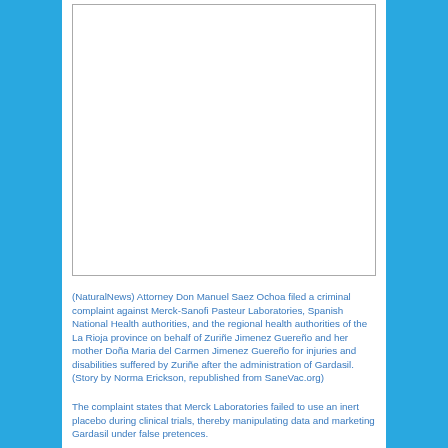[Figure (other): Blank white rectangular image placeholder with a light border]
(NaturalNews) Attorney Don Manuel Saez Ochoa filed a criminal complaint against Merck-Sanofi Pasteur Laboratories, Spanish National Health authorities, and the regional health authorities of the La Rioja province on behalf of Zuriñe Jimenez Guereño and her mother Doña Maria del Carmen Jimenez Guereño for injuries and disabilities suffered by Zuriñe after the administration of Gardasil. (Story by Norma Erickson, republished from SaneVac.org)
The complaint states that Merck Laboratories failed to use an inert placebo during clinical trials, thereby manipulating data and marketing Gardasil under false pretences.